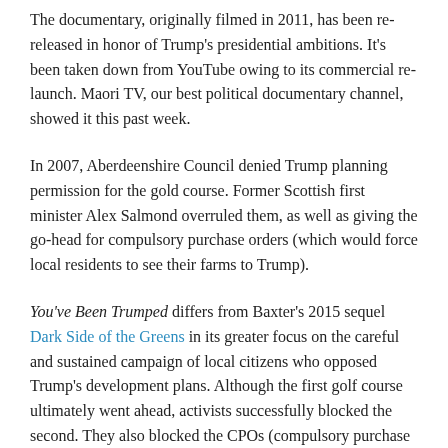The documentary, originally filmed in 2011, has been re-released in honor of Trump's presidential ambitions. It's been taken down from YouTube owing to its commercial re-launch. Maori TV, our best political documentary channel, showed it this past week.
In 2007, Aberdeenshire Council denied Trump planning permission for the gold course. Former Scottish first minister Alex Salmond overruled them, as well as giving the go-head for compulsory purchase orders (which would force local residents to see their farms to Trump).
You've Been Trumped differs from Baxter's 2015 sequel Dark Side of the Greens in its greater focus on the careful and sustained campaign of local citizens who opposed Trump's development plans. Although the first golf course ultimately went ahead, activists successfully blocked the second. They also blocked the CPOs (compulsory purchase orders) and Trump's bid to have an offshore wind farm dismantled. He claimed it ruined the view from